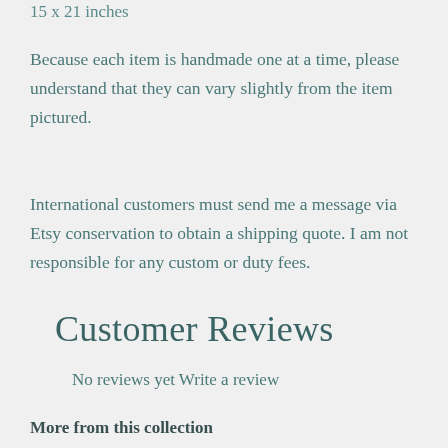15 x 21 inches
Because each item is handmade one at a time, please understand that they can vary slightly from the item pictured.
International customers must send me a message via Etsy conservation to obtain a shipping quote. I am not responsible for any custom or duty fees.
Customer Reviews
No reviews yet Write a review
More from this collection